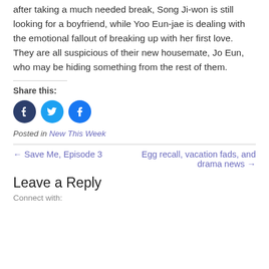after taking a much needed break, Song Ji-won is still looking for a boyfriend, while Yoo Eun-jae is dealing with the emotional fallout of breaking up with her first love. They are all suspicious of their new housemate, Jo Eun, who may be hiding something from the rest of them.
Share this:
[Figure (other): Social share icons: Tumblr (dark blue circle), Twitter (light blue circle), Facebook (blue circle)]
Posted in New This Week
← Save Me, Episode 3
Egg recall, vacation fads, and drama news →
Leave a Reply
Connect with: